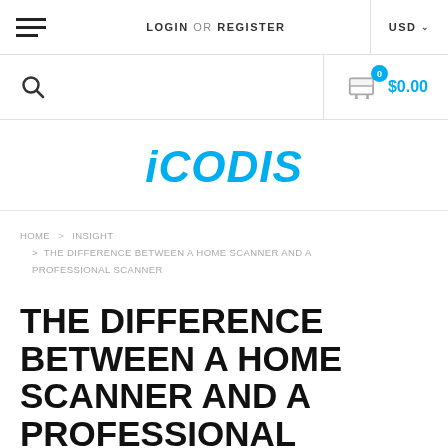LOGIN OR REGISTER  USD
[Figure (screenshot): Search icon and shopping cart with $0.00 total]
iCODIS
HOME > INSIGHT > THE DIFFERENCE BETWEEN A HOME SCANNER AND A PROFESSIONAL SCANNER
THE DIFFERENCE BETWEEN A HOME SCANNER AND A PROFESSIONAL SCANNER